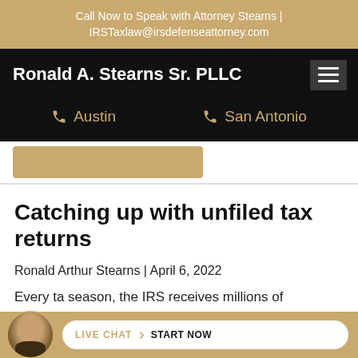Call Now to Speak with Attorney Stearns | IRSTaxlaw@irsdefenseattorney.com
Ronald A. Stearns Sr. PLLC
Austin   San Antonio
Catching up with unfiled tax returns
Ronald Arthur Stearns | April 6, 2022
Every tax season, the IRS receives millions of